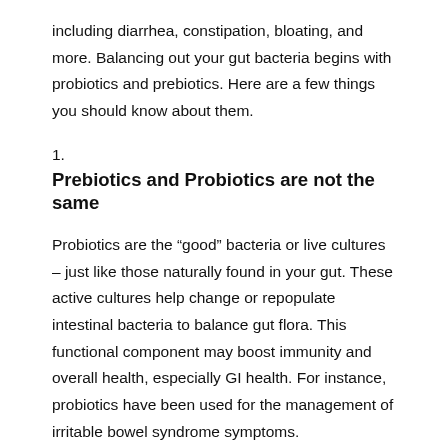including diarrhea, constipation, bloating, and more. Balancing out your gut bacteria begins with probiotics and prebiotics. Here are a few things you should know about them.
1.
Prebiotics and Probiotics are not the same
Probiotics are the “good” bacteria or live cultures – just like those naturally found in your gut. These active cultures help change or repopulate intestinal bacteria to balance gut flora. This functional component may boost immunity and overall health, especially GI health. For instance, probiotics have been used for the management of irritable bowel syndrome symptoms.
Prebiotics are natural, non-digestible food components